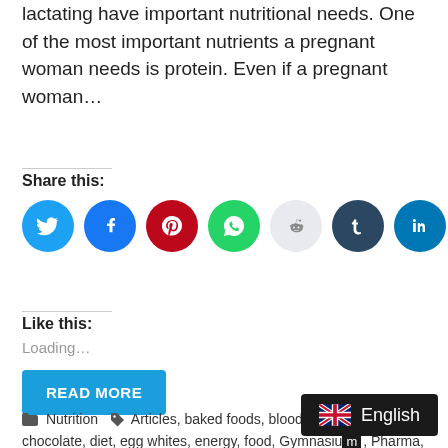lactating have important nutritional needs. One of the most important nutrients a pregnant woman needs is protein. Even if a pregnant woman…
Share this:
[Figure (infographic): Seven social media share icon circles: Twitter (blue), Facebook (blue), Pinterest (red), WhatsApp (green), Reddit (light blue-grey), Tumblr (dark navy), LinkedIn (blue)]
Like this:
Loading…
READ MORE
Nutrition   Articles, baked foods, blood pressure, dark chocolate, diet, egg whites, energy, food, Gymnasium, Pharma, Hospitality Recreation, Magazine, …on education, pregnant woman, Tips & Tricks, Turkey
[Figure (infographic): English language selector overlay with UK flag emoji and the word English on a dark background]